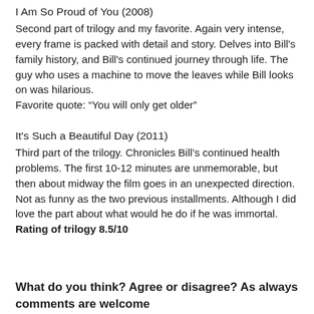I Am So Proud of You (2008)
Second part of trilogy and my favorite. Again very intense, every frame is packed with detail and story. Delves into Bill’s family history, and Bill’s continued journey through life. The guy who uses a machine to move the leaves while Bill looks on was hilarious.
Favorite quote: “You will only get older”
It's Such a Beautiful Day (2011)
Third part of the trilogy. Chronicles Bill’s continued health problems. The first 10-12 minutes are unmemorable, but then about midway the film goes in an unexpected direction. Not as funny as the two previous installments. Although I did love the part about what would he do if he was immortal. Rating of trilogy 8.5/10
What do you think? Agree or disagree? As always comments are welcome